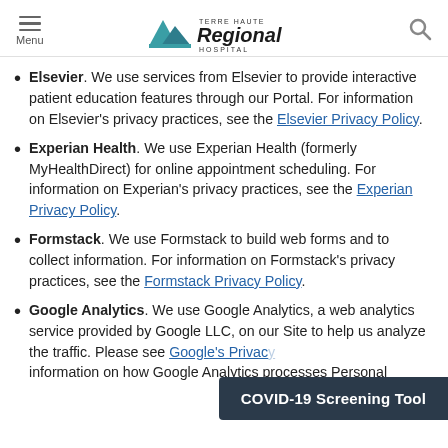Menu | Terre Haute Regional Hospital | Search
Elsevier. We use services from Elsevier to provide interactive patient education features through our Portal. For information on Elsevier's privacy practices, see the Elsevier Privacy Policy.
Experian Health. We use Experian Health (formerly MyHealthDirect) for online appointment scheduling. For information on Experian's privacy practices, see the Experian Privacy Policy.
Formstack. We use Formstack to build web forms and to collect information. For information on Formstack's privacy practices, see the Formstack Privacy Policy.
Google Analytics. We use Google Analytics, a web analytics service provided by Google LLC, on our Site to help us analyze the traffic. Please see Google's Privacy Policy for information on how Google Analytics processes Personal